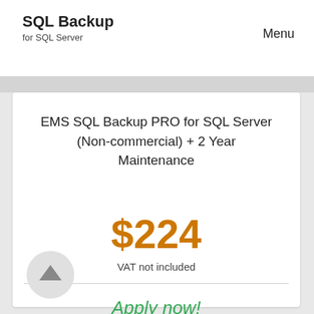SQL Backup
for SQL Server
Menu
EMS SQL Backup PRO for SQL Server (Non-commercial) + 2 Year Maintenance
$224
VAT not included
Apply now!